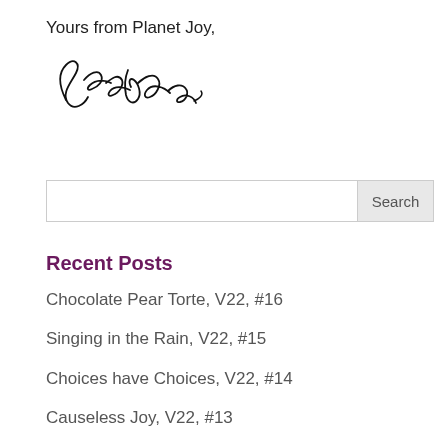Yours from Planet Joy,
[Figure (illustration): A handwritten cursive signature reading 'Leslie']
[Figure (other): A search bar with an input field and a Search button on the right]
Recent Posts
Chocolate Pear Torte, V22, #16
Singing in the Rain, V22, #15
Choices have Choices, V22, #14
Causeless Joy, V22, #13
Yes ... Even Greater, V22, #12